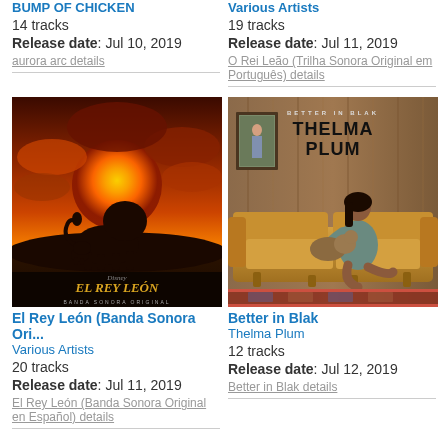BUMP OF CHICKEN
14 tracks
Release date: Jul 10, 2019
aurora arc details
Various Artists
19 tracks
Release date: Jul 11, 2019
O Rei Leão (Trilha Sonora Original em Português) details
[Figure (photo): El Rey León (Banda Sonora Original) album cover showing a lion silhouette against a sunset]
[Figure (photo): Better in Blak album cover showing Thelma Plum sitting on a yellow sofa holding a dog]
El Rey León (Banda Sonora Ori...
Various Artists
20 tracks
Release date: Jul 11, 2019
El Rey León (Banda Sonora Original en Español) details
Better in Blak
Thelma Plum
12 tracks
Release date: Jul 12, 2019
Better in Blak details